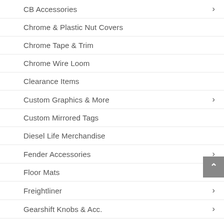CB Accessories
Chrome & Plastic Nut Covers
Chrome Tape & Trim
Chrome Wire Loom
Clearance Items
Custom Graphics & More
Custom Mirrored Tags
Diesel Life Merchandise
Fender Accessories
Floor Mats
Freightliner
Gearshift Knobs & Acc.
Headlights
Hood Ornaments
Interior Accessories